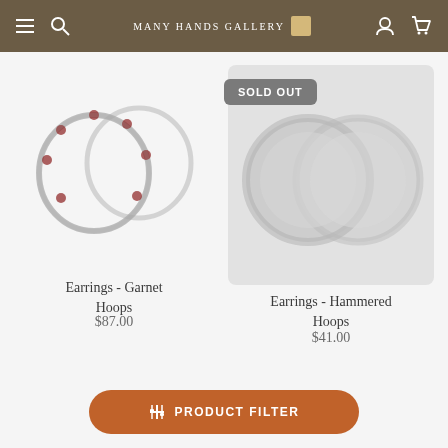Many Hands Gallery
[Figure (photo): Garnet hoop earrings - silver hoops with small red garnet stones, blurred product photo on white background]
Earrings - Garnet Hoops
$87.00
[Figure (photo): Hammered hoop earrings - silver circular hammered hoops, blurred product photo on light gray background, with SOLD OUT badge overlay]
SOLD OUT
Earrings - Hammered Hoops
$41.00
PRODUCT FILTER